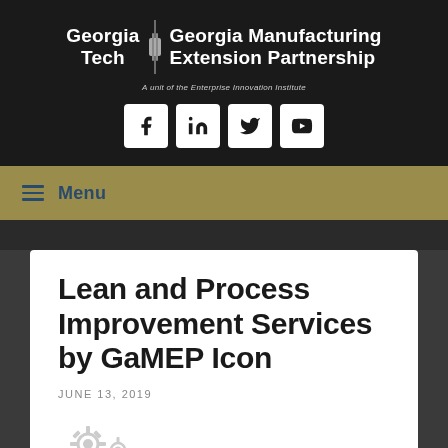[Figure (logo): Georgia Tech and Georgia Manufacturing Extension Partnership logo with social media icons (Facebook, LinkedIn, Twitter, YouTube) on dark background]
Menu
Lean and Process Improvement Services by GaMEP Icon
JUNE 13, 2019
[Figure (illustration): Gear icons at bottom of card]